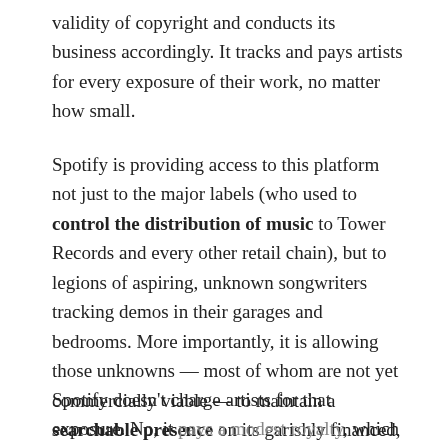validity of copyright and conducts its business accordingly. It tracks and pays artists for every exposure of their work, no matter how small.
Spotify is providing access to this platform not just to the major labels (who used to control the distribution of music to Tower Records and every other retail chain), but to legions of aspiring, unknown songwriters tracking demos in their garages and bedrooms. More importantly, it is allowing those unknowns — most of whom are not yet commercially viable — to maintain a searchable presence on its garishly financed, cutting-edge platform, and to benefit from that presence.
Spotify doesn't charge artists for that exposure. No, it pays a modest royalty, which is more than